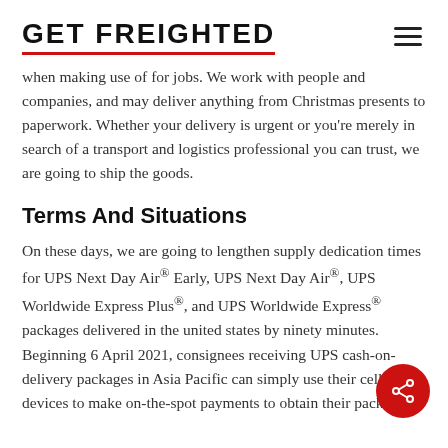GET FREIGHTED
when making use of for jobs. We work with people and companies, and may deliver anything from Christmas presents to paperwork. Whether your delivery is urgent or you're merely in search of a transport and logistics professional you can trust, we are going to ship the goods.
Terms And Situations
On these days, we are going to lengthen supply dedication times for UPS Next Day Air® Early, UPS Next Day Air®, UPS Worldwide Express Plus®, and UPS Worldwide Express® packages delivered in the united states by ninety minutes. Beginning 6 April 2021, consignees receiving UPS cash-on-delivery packages in Asia Pacific can simply use their cellular devices to make on-the-spot payments to obtain their packages